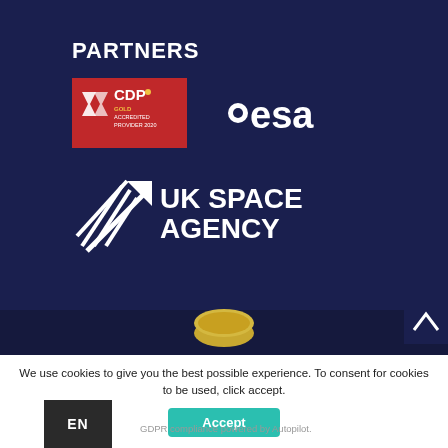PARTNERS
[Figure (logo): CDP Gold Accredited Provider 2020 logo on red background]
[Figure (logo): ESA (European Space Agency) logo in white on dark background]
[Figure (logo): UK Space Agency logo in white on dark background]
[Figure (photo): Partial view of a gold coin and dark background section]
We use cookies to give you the best possible experience. To consent for cookies to be used, click accept.
Accept
EN
GDPR compliance powered by Autopilot.